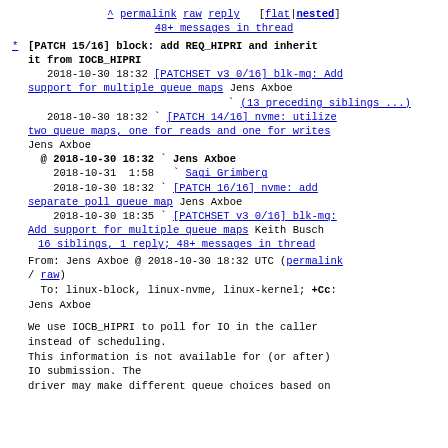^ permalink raw reply [flat|nested] 48+ messages in thread
* [PATCH 15/16] block: add REQ_HIPRI and inherit it from IOCB_HIPRI
2018-10-30 18:32 [PATCHSET v3 0/16] blk-mq: Add support for multiple queue maps Jens Axboe
(13 preceding siblings ...)
2018-10-30 18:32 ` [PATCH 14/16] nvme: utilize two queue maps, one for reads and one for writes Jens Axboe
@ 2018-10-30 18:32 ` Jens Axboe
2018-10-31 1:58 ` Sagi Grimberg
2018-10-30 18:32 ` [PATCH 16/16] nvme: add separate poll queue map Jens Axboe
2018-10-30 18:35 ` [PATCHSET v3 0/16] blk-mq: Add support for multiple queue maps Keith Busch
16 siblings, 1 reply; 48+ messages in thread
From: Jens Axboe @ 2018-10-30 18:32 UTC (permalink / raw)
To: linux-block, linux-nvme, linux-kernel; +Cc: Jens Axboe
We use IOCB_HIPRI to poll for IO in the caller instead of scheduling.
This information is not available for (or after) IO submission. The
driver may make different queue choices based on